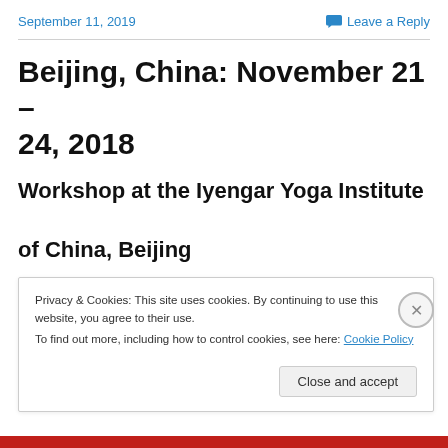September 11, 2019    Leave a Reply
Beijing, China: November 21 – 24, 2018
Workshop at the Iyengar Yoga Institute of China, Beijing
Privacy & Cookies: This site uses cookies. By continuing to use this website, you agree to their use.
To find out more, including how to control cookies, see here: Cookie Policy